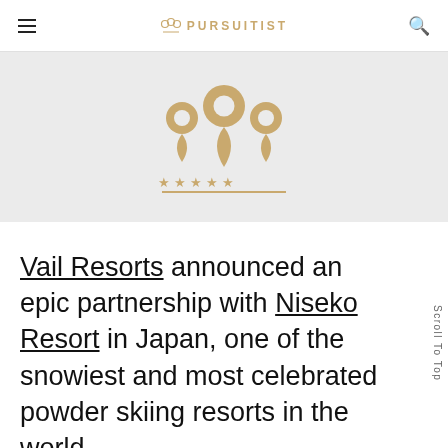PURSUITIST
[Figure (logo): Pursuitist logo mark — three location pin shapes arranged like a crown with five stars and a horizontal line beneath, rendered in gold/tan color on a light gray background]
Vail Resorts announced an epic partnership with Niseko Resort in Japan, one of the snowiest and most celebrated powder skiing resorts in the world.